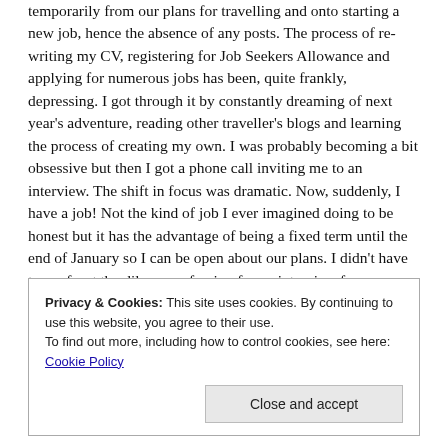temporarily from our plans for travelling and onto starting a new job, hence the absence of any posts. The process of re-writing my CV, registering for Job Seekers Allowance and applying for numerous jobs has been, quite frankly, depressing. I got through it by constantly dreaming of next year's adventure, reading other traveller's blogs and learning the process of creating my own. I was probably becoming a bit obsessive but then I got a phone call inviting me to an interview. The shift in focus was dramatic. Now, suddenly, I have a job! Not the kind of job I ever imagined doing to be honest but it has the advantage of being a fixed term until the end of January so I can be open about our plans. I didn't have to confront the dilemma of going for an interview for a permanent post and deciding whether or not to come clean
Privacy & Cookies: This site uses cookies. By continuing to use this website, you agree to their use.
To find out more, including how to control cookies, see here: Cookie Policy